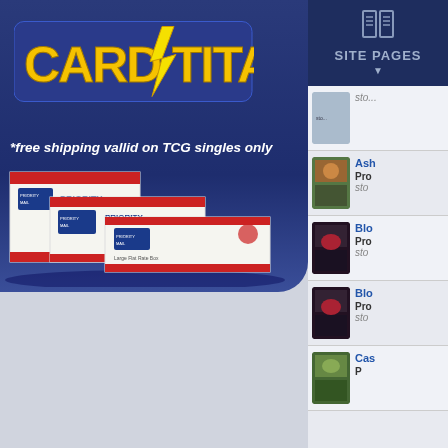[Figure (screenshot): CardTitan website screenshot showing logo banner with free shipping promotion and USPS Priority Mail boxes on the left, and a site pages navigation panel on the right with card listings including Ashenmoor, Bloodghast, and other cards]
*free shipping vallid on TCG singles only
SITE PAGES
Ash...
Pro...
sto...
Blo...
Pro...
sto...
Blo...
Pro...
sto...
Cas...
P...